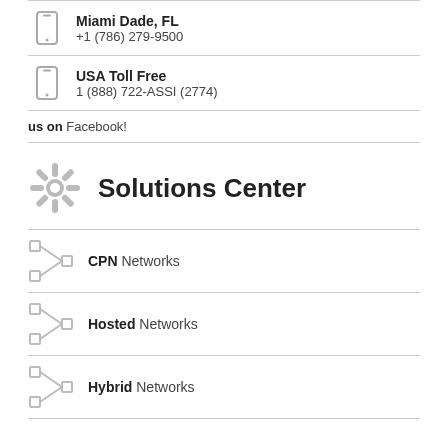Miami Dade, FL +1 (786) 279-9500
USA Toll Free 1 (888) 722-ASSI (2774)
us on Facebook!
Solutions Center
CPN Networks
Hosted Networks
Hybrid Networks